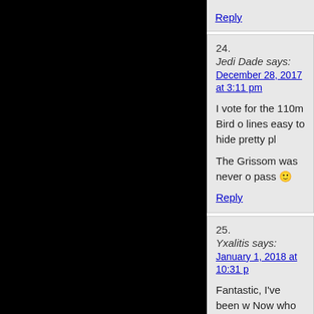Reply
24. Jedi Dade says: December 28, 2017 at 3:11 pm
I vote for the 110m Bird o lines easy to hide pretty pl
The Grissom was never o pass 🙂
Reply
25. Yxalitis says: January 1, 2018 at 10:31 p
Fantastic, I've been w Now who wants my g
Reply